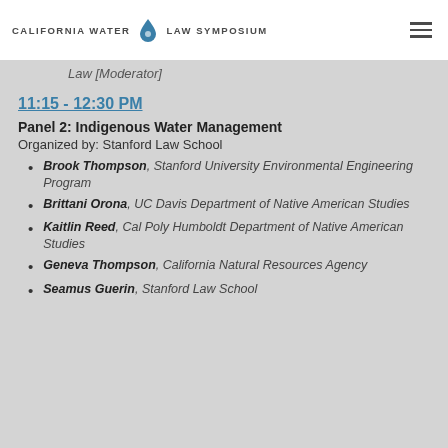California Water Law Symposium
Law [Moderator]
11:15 - 12:30 PM
Panel 2: Indigenous Water Management
Organized by: Stanford Law School
Brook Thompson, Stanford University Environmental Engineering Program
Brittani Orona, UC Davis Department of Native American Studies
Kaitlin Reed, Cal Poly Humboldt Department of Native American Studies
Geneva Thompson, California Natural Resources Agency
Seamus Guerin, Stanford Law School